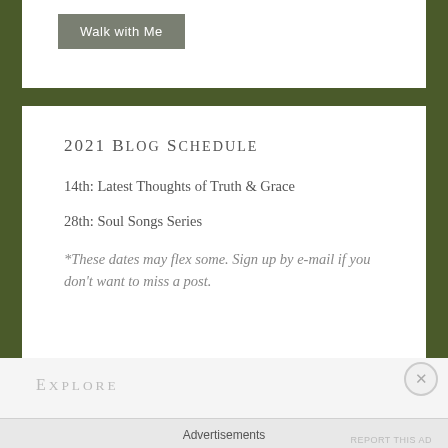[Figure (other): Button labeled 'Walk with Me' with gray background]
2021 Blog Schedule
14th: Latest Thoughts of Truth & Grace
28th: Soul Songs Series
*These dates may flex some. Sign up by e-mail if you don't want to miss a post.
Explore
Advertisements